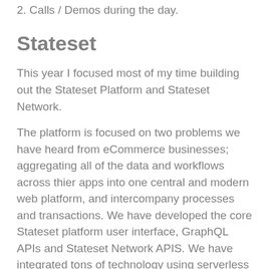2. Calls / Demos during the day.
Stateset
This year I focused most of my time building out the Stateset Platform and Stateset Network.
The platform is focused on two problems we have heard from eCommerce businesses; aggregating all of the data and workflows across thier apps into one central and modern web platform, and intercompany processes and transactions. We have developed the core Stateset platform user interface, GraphQL APIs and Stateset Network APIS. We have integrated tons of technology using serverless api paths; everything for fintech, AI, notifications; all follow a similar API pattern in